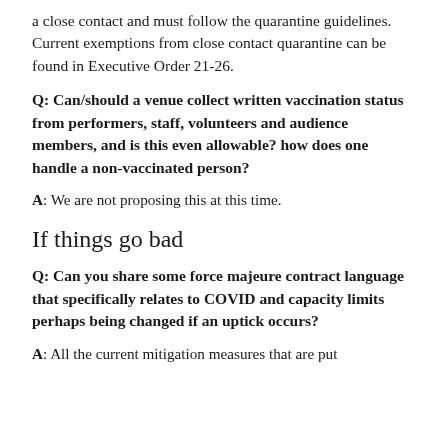a close contact and must follow the quarantine guidelines. Current exemptions from close contact quarantine can be found in Executive Order 21-26.
Q: Can/should a venue collect written vaccination status from performers, staff, volunteers and audience members, and is this even allowable? how does one handle a non-vaccinated person?
A: We are not proposing this at this time.
If things go bad
Q: Can you share some force majeure contract language that specifically relates to COVID and capacity limits perhaps being changed if an uptick occurs?
A: All the current mitigation measures that are put